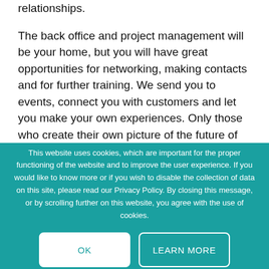relationships.
The back office and project management will be your home, but you will have great opportunities for networking, making contacts and for further training. We send you to events, connect you with customers and let you make your own experiences. Only those who create their own picture of the future of our
This website uses cookies, which are important for the proper functioning of the website and to improve the user experience. If you would like to know more or if you wish to disable the collection of data on this site, please read our Privacy Policy. By closing this message, or by scrolling further on this website, you agree with the use of cookies.